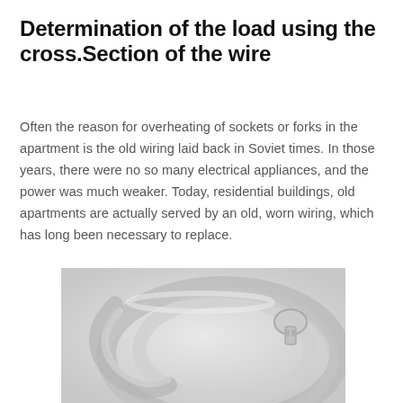Determination of the load using the cross.Section of the wire
Often the reason for overheating of sockets or forks in the apartment is the old wiring laid back in Soviet times. In those years, there were no so many electrical appliances, and the power was much weaker. Today, residential buildings, old apartments are actually served by an old, worn wiring, which has long been necessary to replace.
[Figure (photo): A coiled electrical wire or cable shown in close-up, grayscale/black and white photo, with a connector or plug visible at the end.]